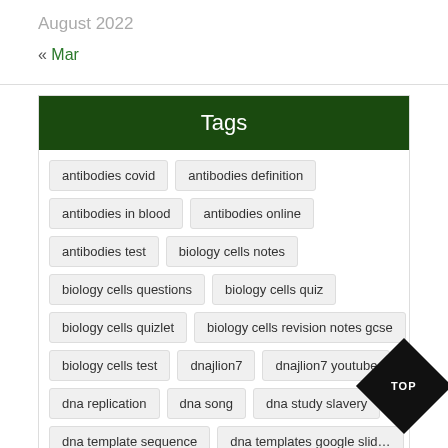August 2022
« Mar
Tags
antibodies covid
antibodies definition
antibodies in blood
antibodies online
antibodies test
biology cells notes
biology cells questions
biology cells quiz
biology cells quizlet
biology cells revision notes gcse
biology cells test
dnajlion7
dnajlion7 youtube
dna replication
dna song
dna study slavery
dna template sequence
dna templates google slides